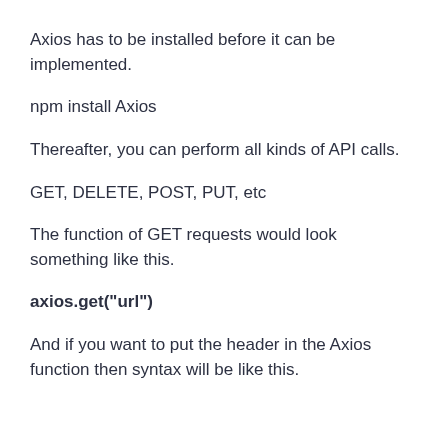Axios has to be installed before it can be implemented.
npm install Axios
Thereafter, you can perform all kinds of API calls.
GET, DELETE, POST, PUT, etc
The function of GET requests would look something like this.
axios.get("url")
And if you want to put the header in the Axios function then syntax will be like this.